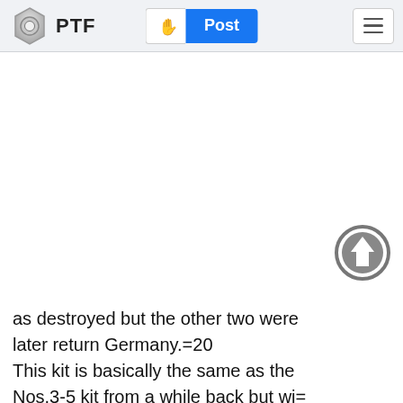PTF
[Figure (screenshot): Scroll-to-top circular button with upward arrow, grey outline]
as destroyed but the other two were later return Germany.=20
This kit is basically the same as the Nos.3-5 kit from a while back but wi=
th different decals. The box art states it has a new